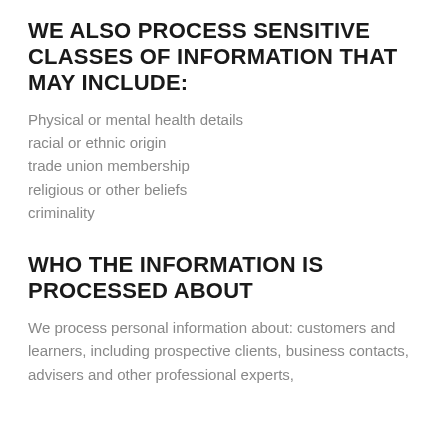WE ALSO PROCESS SENSITIVE CLASSES OF INFORMATION THAT MAY INCLUDE:
Physical or mental health details
racial or ethnic origin
trade union membership
religious or other beliefs
criminality
WHO THE INFORMATION IS PROCESSED ABOUT
We process personal information about: customers and learners, including prospective clients, business contacts, advisers and other professional experts,